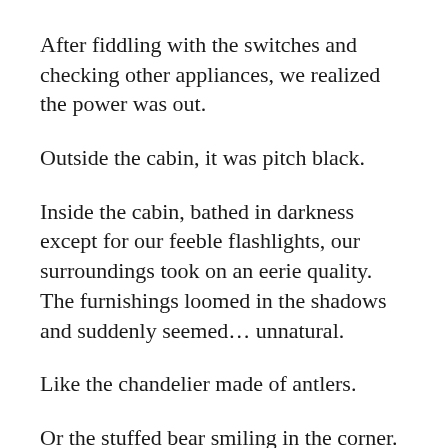After fiddling with the switches and checking other appliances, we realized the power was out.
Outside the cabin, it was pitch black.
Inside the cabin, bathed in darkness except for our feeble flashlights, our surroundings took on an eerie quality. The furnishings loomed in the shadows and suddenly seemed… unnatural.
Like the chandelier made of antlers.
Or the stuffed bear smiling in the corner.
Or the three empty beds.